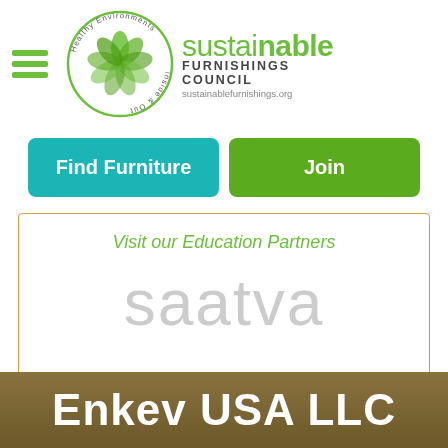[Figure (logo): Sustainable Furnishings Council logo with circular leaf emblem and text 'sustainable FURNISHINGS COUNCIL sustainablefurnishings.org', with hamburger menu icon on the left]
[Figure (other): Two buttons: 'Find Furniture' in teal and 'Join' in green]
Visit our Education Partners
[Figure (logo): Saatva logo in light gray large text]
Enkev USA LLC